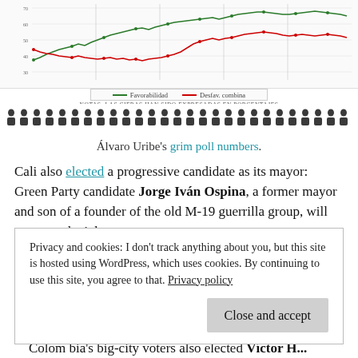[Figure (continuous-plot): A line chart showing poll numbers over time with two lines: green (Favorabilidad) and red (Desfav. combina). The green line trends upward and the red line lower. Small data point dots are scattered along both lines. Below the chart is a legend box with the two line types labeled, and a note 'NOTAS: LAS CIFRAS HAN SIDO EXPRESADAS EN PORCENTAJES'.]
[Figure (infographic): A row of small human figure icons (people pictograms) in dark color, spanning the full width of the page, representing a population or crowd graphic.]
Álvaro Uribe's grim poll numbers.
Cali also elected a progressive candidate as its mayor: Green Party candidate Jorge Iván Ospina, a former mayor and son of a founder of the old M-19 guerrilla group, will return to the job.
In Cartagena, William Dau, a candidate who ran without
Privacy and cookies: I don't track anything about you, but this site is hosted using WordPress, which uses cookies. By continuing to use this site, you agree to that. Privacy policy
Close and accept
Colombia's big-city voters also elected Víctor H...